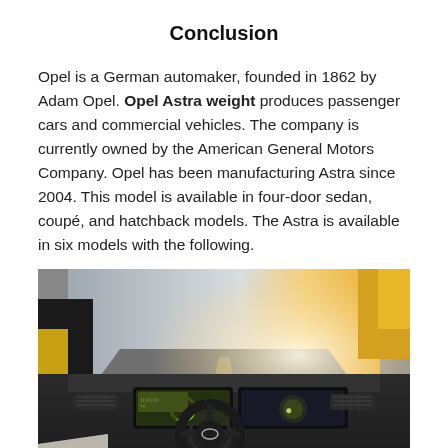Conclusion
Opel is a German automaker, founded in 1862 by Adam Opel. Opel Astra weight produces passenger cars and commercial vehicles. The company is currently owned by the American General Motors Company. Opel has been manufacturing Astra since 2004. This model is available in four-door sedan, coupé, and hatchback models. The Astra is available in six models with the following.
[Figure (photo): Interior view of an Opel Astra showing the steering wheel, dual digital displays (instrument cluster and infotainment screen), dashboard, and a glimpse of the outside road through the windshield. Yellow accent visible on passenger side.]